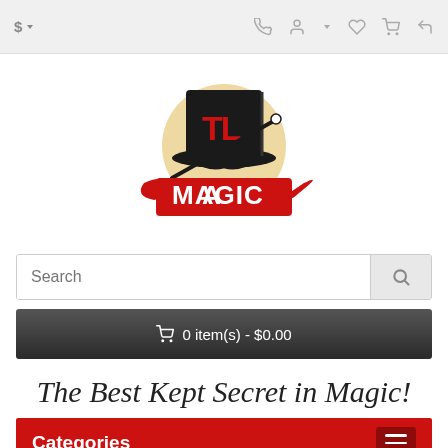$ ▾  [phone] [account] [wishlist] [cart] [share]
[Figure (logo): TL Magic logo: black top hat with red letters T and L, a magic wand, and a red ribbon banner reading MAGIC]
Search
🛒 0 item(s) - $0.00
The Best Kept Secret in Magic!
Categories